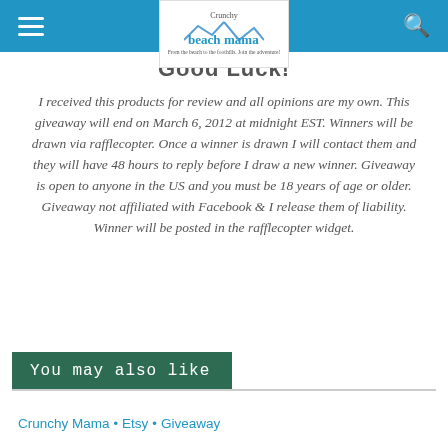Crunchy Beach Mama — From the beach to the foothills. Join the adventure!
Good Luck!
I received this products for review and all opinions are my own. This giveaway will end on March 6, 2012 at midnight EST. Winners will be drawn via rafflecopter. Once a winner is drawn I will contact them and they will have 48 hours to reply before I draw a new winner. Giveaway is open to anyone in the US and you must be 18 years of age or older. Giveaway not affiliated with Facebook & I release them of liability. Winner will be posted in the rafflecopter widget.
You may also like
Crunchy Mama • Etsy • Giveaway